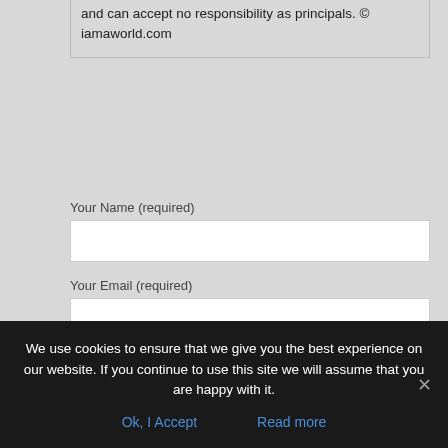and can accept no responsibility as principals. © iamaworld.com
Your Name (required)
Your Email (required)
We use cookies to ensure that we give you the best experience on our website. If you continue to use this site we will assume that you are happy with it.
Ok, I Accept
Read more